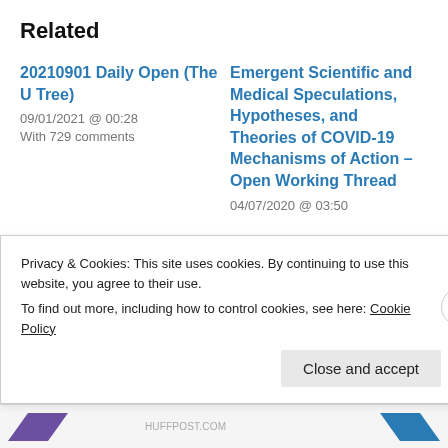Related
20210901 Daily Open (The U Tree)
09/01/2021 @ 00:28
With 729 comments
Emergent Scientific and Medical Speculations, Hypotheses, and Theories of COVID-19 Mechanisms of Action – Open Working Thread
04/07/2020 @ 03:50
Privacy & Cookies: This site uses cookies. By continuing to use this website, you agree to their use.
To find out more, including how to control cookies, see here: Cookie Policy
Close and accept